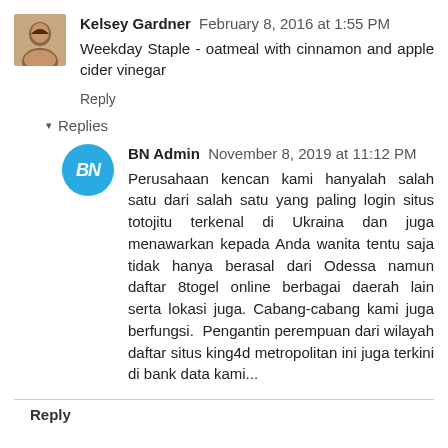Kelsey Gardner  February 8, 2016 at 1:55 PM
Weekday Staple - oatmeal with cinnamon and apple cider vinegar
Reply
▾ Replies
BN Admin  November 8, 2019 at 11:12 PM
Perusahaan kencan kami hanyalah salah satu dari salah satu yang paling login situs totojitu terkenal di Ukraina dan juga menawarkan kepada Anda wanita tentu saja tidak hanya berasal dari Odessa namun daftar 8togel online berbagai daerah lain serta lokasi juga. Cabang-cabang kami juga berfungsi. Pengantin perempuan dari wilayah daftar situs king4d metropolitan ini juga terkini di bank data kami...
Reply